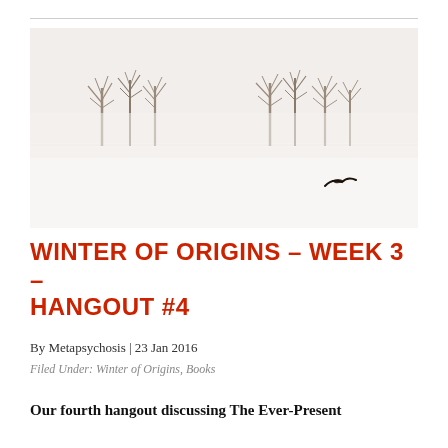[Figure (photo): Minimalist winter landscape photograph in near-white tones: silhouetted bare trees in fog along a flat horizon, with a single bird in flight in the lower right area of the frame.]
WINTER OF ORIGINS – WEEK 3 – HANGOUT #4
By Metapsychosis | 23 Jan 2016
Filed Under: Winter of Origins, Books
Our fourth hangout discussing The Ever-Present